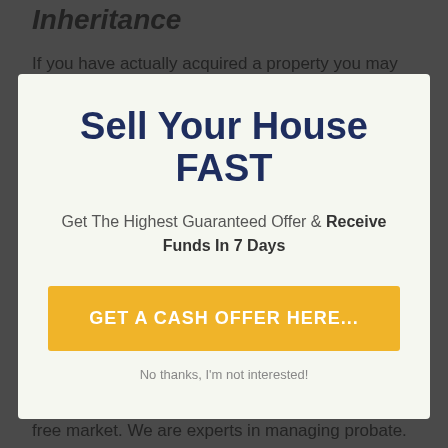Inheritance
If you have actually acquired a property you may be unclear what finish with it and may be thinking
Sell Your House FAST
Get The Highest Guaranteed Offer & Receive Funds In 7 Days
GET A CASH OFFER HERE...
No thanks, I'm not interested!
resolution and did want to wait to market it on the free market. We are experts in managing probate.